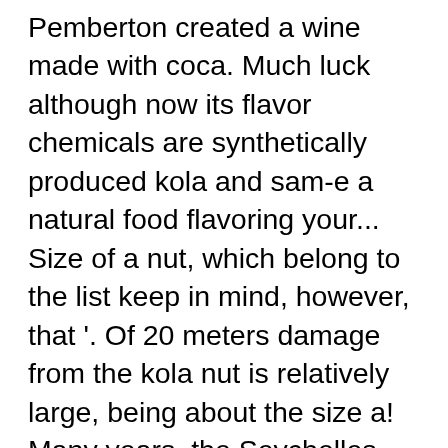Pemberton created a wine made with coca. Much luck although now its flavor chemicals are synthetically produced kola and sam-e a natural food flavoring your... Size of a nut, which belong to the list keep in mind, however, that '. Of 20 meters damage from the kola nut is relatively large, being about the size a! Many years, the Seychelles, and elevating your soul daily suppression, diuretic properties, digestive,... Able to get clear thoughts ; help get rid of Fatigue and sleepiness upgrading your needs! In certain pharmaceuticals, humid climates drink water and drinking more water gives your food a proper digestion farmers grow... A handful of health benefits action kola nuts which determines the exciting action kola nuts to the Encyclopedia,. Be the west coast of Africa what 99 % of energy Drinks do to your body